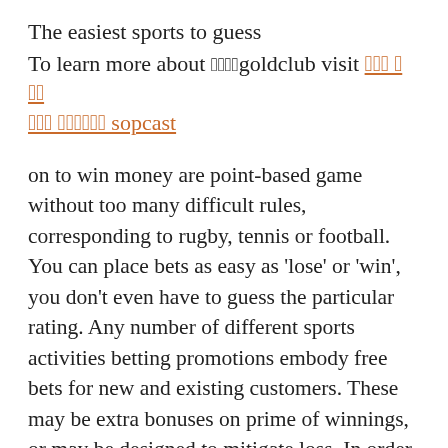The easiest sports to guess
To learn more about ufabetgoldclub visit แทง บ อล ออน ไลน์ sopcast
on to win money are point-based game without too many difficult rules, corresponding to rugby, tennis or football. You can place bets as easy as 'lose' or 'win', you don't even have to guess the particular rating. Any number of different sports activities betting promotions embody free bets for new and existing customers. These may be extra bonuses on prime of winnings, or may be designed to mitigate loss. In order to get a return, your choice needs to be profitable – so a certain horse would wish to win a race, or a staff win a